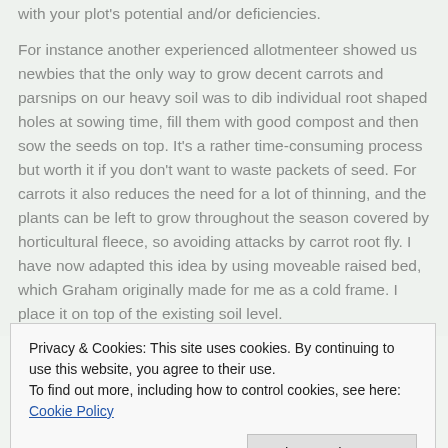with your plot's potential and/or deficiencies.

For instance another experienced allotmenteer showed us newbies that the only way to grow decent carrots and parsnips on our heavy soil was to dib individual root shaped holes at sowing time, fill them with good compost and then sow the seeds on top. It's a rather time-consuming process but worth it if you don't want to waste packets of seed. For carrots it also reduces the need for a lot of thinning, and the plants can be left to grow throughout the season covered by horticultural fleece, so avoiding attacks by carrot root fly. I have now adapted this idea by using moveable raised bed, which Graham originally made for me as a cold frame. I place it on top of the existing soil level.
Privacy & Cookies: This site uses cookies. By continuing to use this website, you agree to their use.
To find out more, including how to control cookies, see here: Cookie Policy
amounts of clearing, digging, and composting. Crop